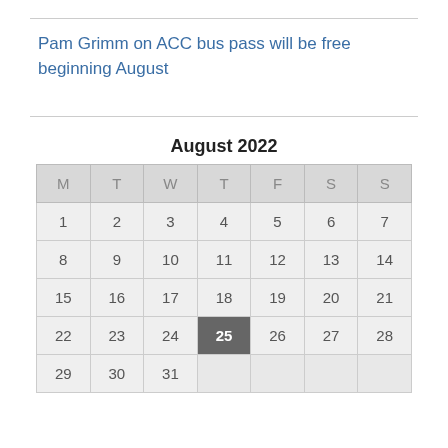Pam Grimm on ACC bus pass will be free beginning August
[Figure (other): August 2022 calendar with day 25 highlighted]
August 2022